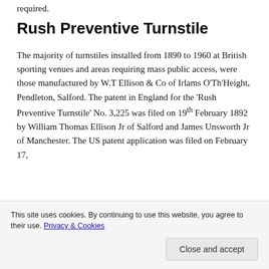required.
Rush Preventive Turnstile
The majority of turnstiles installed from 1890 to 1960 at British sporting venues and areas requiring mass public access, were those manufactured by W.T Ellison & Co of Irlams O'Th'Height, Pendleton, Salford. The patent in England for the 'Rush Preventive Turnstile' No. 3,225 was filed on 19th February 1892 by William Thomas Ellison Jr of Salford and James Unsworth Jr of Manchester. The US patent application was filed on February 17,
This site uses cookies. By continuing to use this website, you agree to their use. Privacy & Cookies
Close and accept